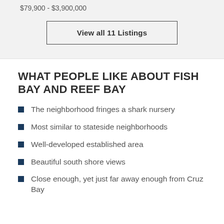$79,900 - $3,900,000
View all 11 Listings
WHAT PEOPLE LIKE ABOUT FISH BAY AND REEF BAY
The neighborhood fringes a shark nursery
Most similar to stateside neighborhoods
Well-developed established area
Beautiful south shore views
Close enough, yet just far away enough from Cruz Bay